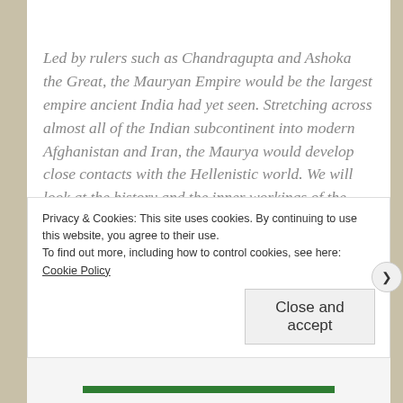Led by rulers such as Chandragupta and Ashoka the Great, the Mauryan Empire would be the largest empire ancient India had yet seen. Stretching across almost all of the Indian subcontinent into modern Afghanistan and Iran, the Maurya would develop close contacts with the Hellenistic world. We will look at the history and the inner workings of the empire, as recorded by the likes of
Privacy & Cookies: This site uses cookies. By continuing to use this website, you agree to their use. To find out more, including how to control cookies, see here: Cookie Policy
Close and accept